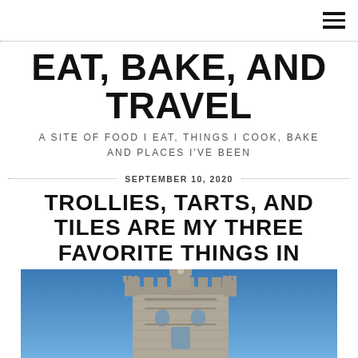≡
EAT, BAKE, AND TRAVEL
A SITE OF FOOD I EAT, THINGS I COOK, BAKE AND PLACES I'VE BEEN
SEPTEMBER 10, 2020
TROLLIES, TARTS, AND TILES ARE MY THREE FAVORITE THINGS IN LISBON, PORTUGAL
[Figure (photo): Photograph of the top portion of the Belém Tower (Torre de Belém) in Lisbon, Portugal, against a bright blue sky. The tower shows Manueline Gothic architecture with battlements, turrets, and ornate stonework.]